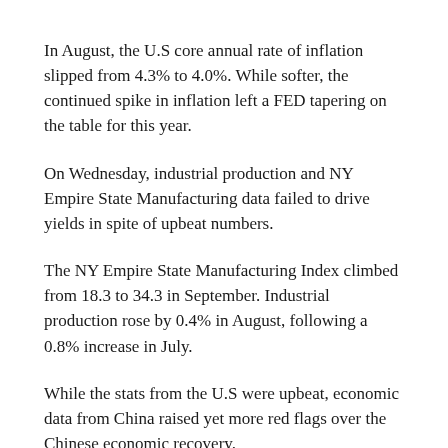In August, the U.S core annual rate of inflation slipped from 4.3% to 4.0%. While softer, the continued spike in inflation left a FED tapering on the table for this year.
On Wednesday, industrial production and NY Empire State Manufacturing data failed to drive yields in spite of upbeat numbers.
The NY Empire State Manufacturing Index climbed from 18.3 to 34.3 in September. Industrial production rose by 0.4% in August, following a 0.8% increase in July.
While the stats from the U.S were upbeat, economic data from China raised yet more red flags over the Chinese economic recovery.